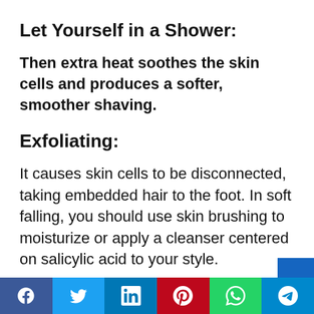Let Yourself in a Shower:
Then extra heat soothes the skin cells and produces a softer, smoother shaving.
Exfoliating:
It causes skin cells to be disconnected, taking embedded hair to the foot. In soft falling, you should use skin brushing to moisturize or apply a cleanser centered on salicylic acid to your style.
Social share bar: Facebook, Twitter, LinkedIn, Pinterest, WhatsApp, Telegram